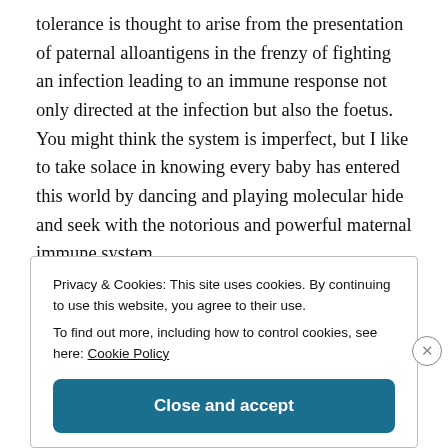tolerance is thought to arise from the presentation of paternal alloantigens in the frenzy of fighting an infection leading to an immune response not only directed at the infection but also the foetus. You might think the system is imperfect, but I like to take solace in knowing every baby has entered this world by dancing and playing molecular hide and seek with the notorious and powerful maternal immune system.
Privacy & Cookies: This site uses cookies. By continuing to use this website, you agree to their use.
To find out more, including how to control cookies, see here: Cookie Policy
Close and accept